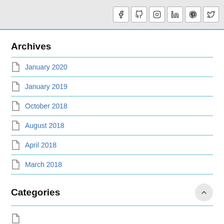Social media icons: Facebook, GitHub, Instagram, LinkedIn, Pinterest, Twitter
Archives
January 2020
January 2019
October 2018
August 2018
April 2018
March 2018
Categories